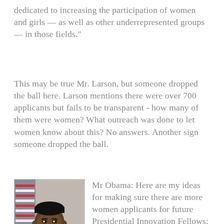dedicated to increasing the participation of women and girls — as well as other underrepresented groups — in those fields."
This may be true Mr. Larson, but someone dropped the ball here. Larson mentions there were over 700 applicants but fails to be transparent - how many of them were women? What outreach was done to let women know about this? No answers. Another sign someone dropped the ball.
[Figure (photo): Official portrait photo of Barack Obama in suit and tie with American flag in background]
Mr Obama: Here are my ideas for making sure there are more women applicants for future Presidential Innovation Fellows: 1. Do a post mortem: Find out how outreach was done. How many women applied? How